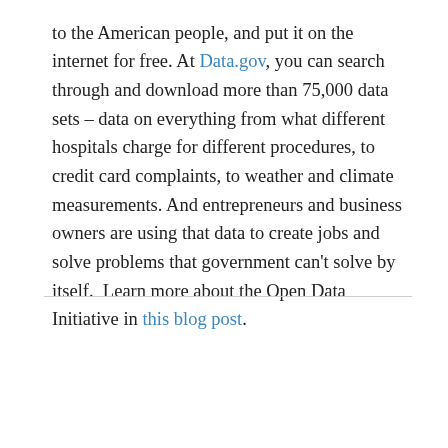to the American people, and put it on the internet for free. At Data.gov, you can search through and download more than 75,000 data sets – data on everything from what different hospitals charge for different procedures, to credit card complaints, to weather and climate measurements. And entrepreneurs and business owners are using that data to create jobs and solve problems that government can't solve by itself.  Learn more about the Open Data Initiative in this blog post.